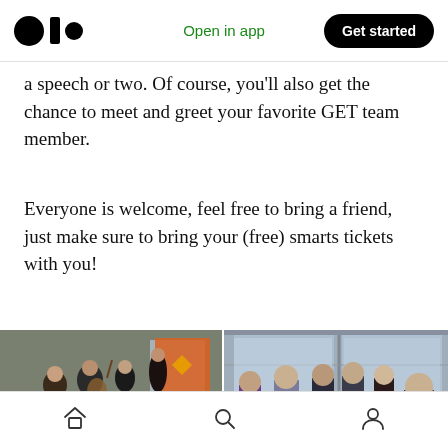Open in app | Get started
a speech or two. Of course, you'll also get the chance to meet and greet your favorite GET team member.
Everyone is welcome, feel free to bring a friend, just make sure to bring your (free) smarts tickets with you!
[Figure (photo): Indoor event photo showing musicians playing instruments including violin, guitar, and double bass, with an orange banner/backdrop in the background]
[Figure (photo): Indoor event photo showing a group of people socializing, with large windows in the background and a city view]
Home | Search | Profile navigation icons